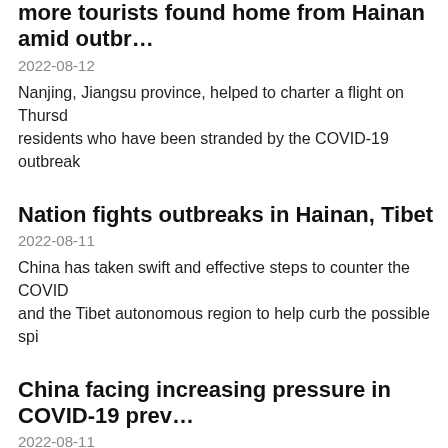more tourists found home from Hainan amid outbr…
2022-08-12
Nanjing, Jiangsu province, helped to charter a flight on Thursday residents who have been stranded by the COVID-19 outbreak
Nation fights outbreaks in Hainan, Tibet
2022-08-11
China has taken swift and effective steps to counter the COVID and the Tibet autonomous region to help curb the possible spi
China facing increasing pressure in COVID-19 prev…
2022-08-11
With the resurgence of infections in neighboring countries, Ch pressure, a health official said Wednesday.
Medical workers arrive in Hainan from all corners
2022-08-10
More than 10,000 medical workers from 19 provincial-level re…